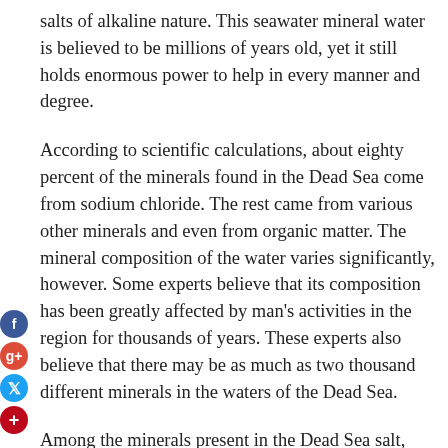salts of alkaline nature. This seawater mineral water is believed to be millions of years old, yet it still holds enormous power to help in every manner and degree.
According to scientific calculations, about eighty percent of the minerals found in the Dead Sea come from sodium chloride. The rest came from various other minerals and even from organic matter. The mineral composition of the water varies significantly, however. Some experts believe that its composition has been greatly affected by man's activities in the region for thousands of years. These experts also believe that there may be as much as two thousand different minerals in the waters of the Dead Sea.
Among the minerals present in the Dead Sea salt, sodium chloride is believed to be the most important mineral. It is commonly used in various medication, as it has a wide range of effects. For example, when psoriasis is prescribed to treat the effects of something this condition, the t...